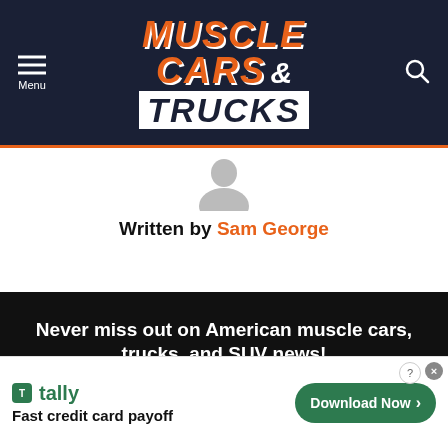[Figure (logo): Muscle Cars & Trucks website logo and navigation header with dark navy background, menu icon on left, search icon on right, and stylized orange and white logo in center]
Written by Sam George
[Figure (illustration): Gray anonymous user avatar silhouette]
Never miss out on American muscle cars, trucks, and SUV news! Get your updates from our daily 10-second email newsletter
[Figure (screenshot): Tally app advertisement banner: tally logo, Fast credit card payoff tagline, Download Now button]